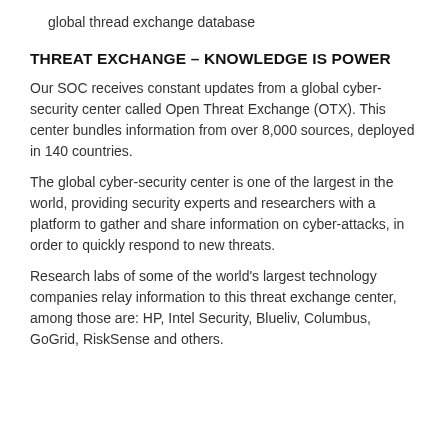global thread exchange database
THREAT EXCHANGE – KNOWLEDGE IS POWER
Our SOC receives constant updates from a global cyber-security center called Open Threat Exchange (OTX). This center bundles information from over 8,000 sources, deployed in 140 countries.
The global cyber-security center is one of the largest in the world, providing security experts and researchers with a platform to gather and share information on cyber-attacks, in order to quickly respond to new threats.
Research labs of some of the world's largest technology companies relay information to this threat exchange center, among those are: HP, Intel Security, Blueliv, Columbus, GoGrid, RiskSense and others.